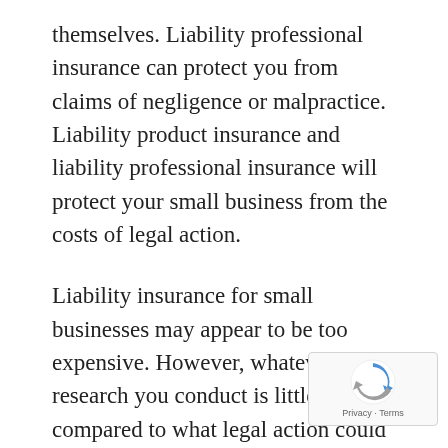themselves. Liability professional insurance can protect you from claims of negligence or malpractice. Liability product insurance and liability professional insurance will protect your small business from the costs of legal action.
Liability insurance for small businesses may appear to be too expensive. However, whatever research you conduct is little compared to what legal action could cost you. When you research different liability plans and get many free quotations before deciding which policy to buy, you can still get the best deal.
Then you should read the policy carefully to ensure that you understand what you are and